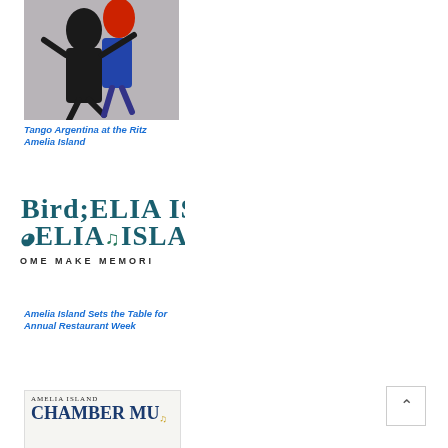[Figure (photo): Two tango dancers, one in black and one with red hair in a blue outfit, performing a dramatic dip pose against a light gray background.]
Tango Argentina at the Ritz Amelia Island
[Figure (logo): Amelia Island logo showing partial text 'ELIA ISLA' in large serif font with a decorative bird/wave emblem, and tagline 'OME MAKE MEMORI' in spaced caps below.]
Amelia Island Sets the Table for Annual Restaurant Week
[Figure (logo): Amelia Island Chamber Music logo showing 'AMELIA ISLAND' in small caps above 'CHAMBER MU' in large bold text, partially cropped.]